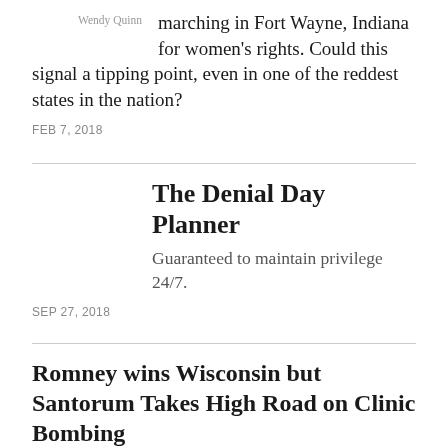marching in Fort Wayne, Indiana for women's rights. Could this signal a tipping point, even in one of the reddest states in the nation?
Wendy Quinn
FEB 7, 2018
The Denial Day Planner
Guaranteed to maintain privilege 24/7.
SEP 27, 2018
Romney wins Wisconsin but Santorum Takes High Road on Clinic Bombing
The rancor in Wisconsin, the bombing of the clinic in Appleton, and the non-response by Romney and Walker shows a disturbing willingness by